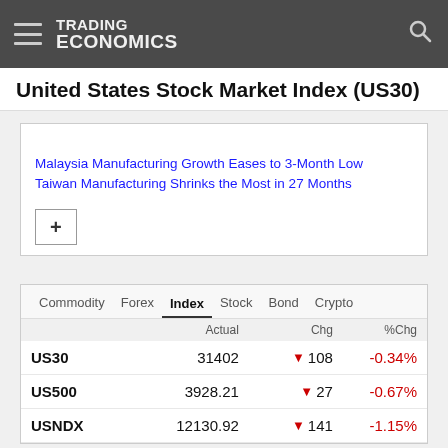TRADING ECONOMICS
United States Stock Market Index (US30)
Malaysia Manufacturing Growth Eases to 3-Month Low
Taiwan Manufacturing Shrinks the Most in 27 Months
|  | Actual | Chg | %Chg |
| --- | --- | --- | --- |
| US30 | 31402 | ▼ 108 | -0.34% |
| US500 | 3928.21 | ▼ 27 | -0.67% |
| USNDX | 12130.92 | ▼ 141 | -1.15% |